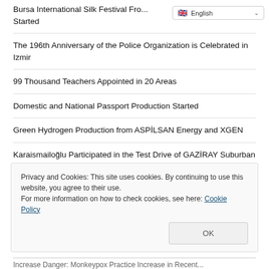English (language selector)
Bursa International Silk Festival Fro... Started
The 196th Anniversary of the Police Organization is Celebrated in Izmir
99 Thousand Teachers Appointed in 20 Areas
Domestic and National Passport Production Started
Green Hydrogen Production from ASPİLSAN Energy and XGEN
Karaismailoğlu Participated in the Test Drive of GAZİRAY Suburban Line
Ruling Deputies Visited TRNC's Domestic Car GÜNSEL
Privacy and Cookies: This site uses cookies. By continuing to use this website, you agree to their use.
For more information on how to check cookies, see here: Cookie Policy
OK
Increase Danger: Monkeypox Practice Increase in Recent...